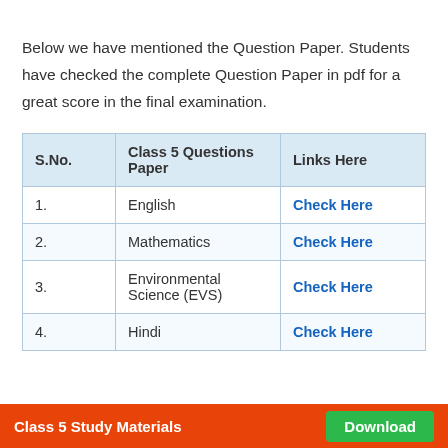Below we have mentioned the Question Paper. Students have checked the complete Question Paper in pdf for a great score in the final examination.
| S.No. | Class 5 Questions Paper | Links Here |
| --- | --- | --- |
| 1. | English | Check Here |
| 2. | Mathematics | Check Here |
| 3. | Environmental Science (EVS) | Check Here |
| 4. | Hindi | Check Here |
Class 5 Study Materials   Download